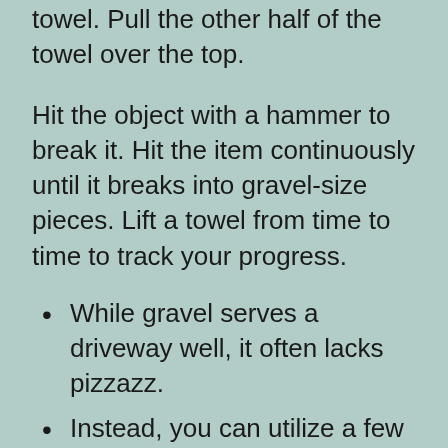towel. Pull the other half of the towel over the top.
Hit the object with a hammer to break it. Hit the item continuously until it breaks into gravel-size pieces. Lift a towel from time to time to track your progress.
While gravel serves a driveway well, it often lacks pizzazz.
Instead, you can utilize a few household items you already have on hand, and instantly add color and original style to your bland gravel driveway without spending without